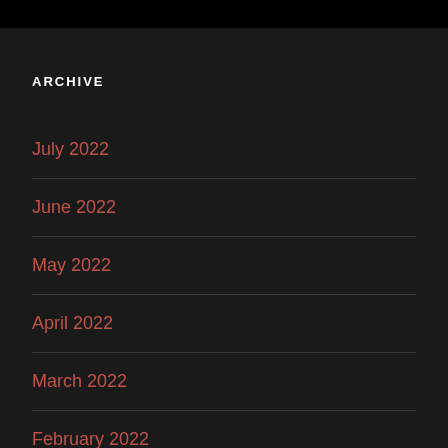ARCHIVE
July 2022
June 2022
May 2022
April 2022
March 2022
February 2022